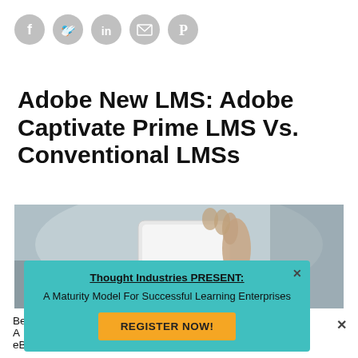[Figure (infographic): Row of five circular grey social media icons: Facebook, Twitter, LinkedIn, Email (envelope), Pinterest]
Adobe New LMS: Adobe Captivate Prime LMS Vs. Conventional LMSs
[Figure (photo): A hand holding a white smartphone against a blurred background]
Thought Industries PRESENT:
A Maturity Model For Successful Learning Enterprises
REGISTER NOW!
Be...
A...
eB...